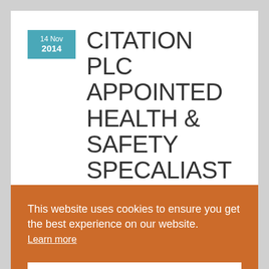14 Nov 2014 — CITATION PLC APPOINTED HEALTH & SAFETY SPECALIAST
Written by Cube Controls. Posted in Latest News.
This website uses cookies to ensure you get the best experience on our website. Learn more
Okay, thank you.